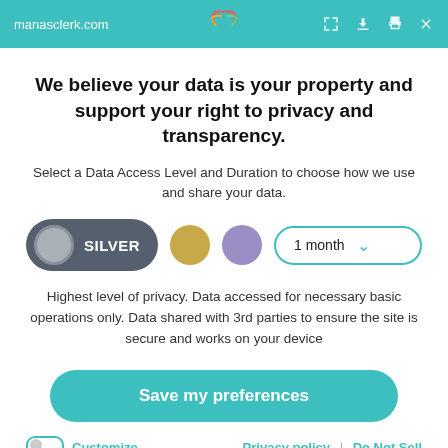manasclerk.com
We believe your data is your property and support your right to privacy and transparency.
Select a Data Access Level and Duration to choose how we use and share your data.
[Figure (screenshot): Data access level selector row: SILVER button (dark rounded pill with grey circle toggle), gold circle button, purple circle button, and '1 month' dropdown with teal border and chevron]
Highest level of privacy. Data accessed for necessary basic operations only. Data shared with 3rd parties to ensure the site is secure and works on your device
[Figure (other): Save my preferences button — large teal rounded pill button]
Customize
Privacy policy  |  Do Not Sell